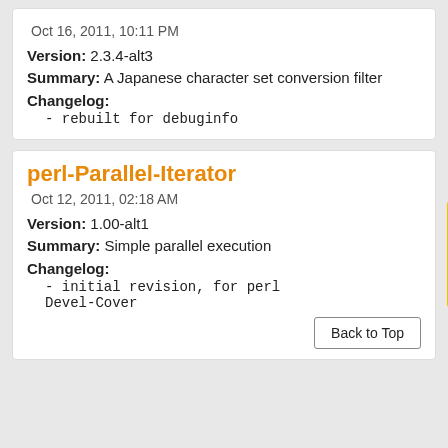Oct 16, 2011, 10:11 PM
Version: 2.3.4-alt3
Summary: A Japanese character set conversion filter
Changelog:
- rebuilt for debuginfo
perl-Parallel-Iterator
Oct 12, 2011, 02:18 AM
Version: 1.00-alt1
Summary: Simple parallel execution
Changelog:
- initial revision, for perl Devel-Cover